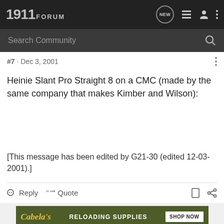1911FORUM
#7 · Dec 3, 2001
Heinie Slant Pro Straight 8 on a CMC (made by the same company that makes Kimber and Wilson):
[This message has been edited by G21-30 (edited 12-03-2001).]
Reply   Quote
[Figure (screenshot): Cabela's Reloading Supplies advertisement banner with SHOP NOW button]